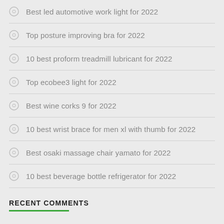Best led automotive work light for 2022
Top posture improving bra for 2022
10 best proform treadmill lubricant for 2022
Top ecobee3 light for 2022
Best wine corks 9 for 2022
10 best wrist brace for men xl with thumb for 2022
Best osaki massage chair yamato for 2022
10 best beverage bottle refrigerator for 2022
RECENT COMMENTS